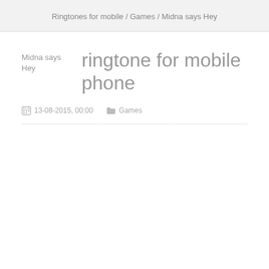Ringtones for mobile / Games / Midna says Hey
ringtone for mobile phone
Midna says Hey
13-08-2015, 00:00   Games